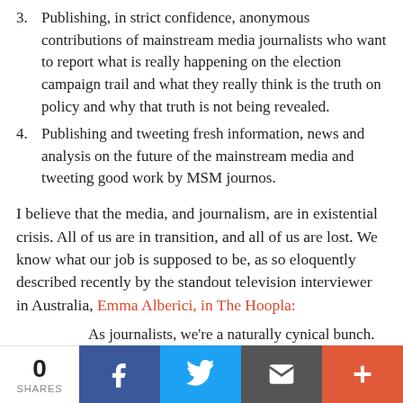3. Publishing, in strict confidence, anonymous contributions of mainstream media journalists who want to report what is really happening on the election campaign trail and what they really think is the truth on policy and why that truth is not being revealed.
4. Publishing and tweeting fresh information, news and analysis on the future of the mainstream media and tweeting good work by MSM journos.
I believe that the media, and journalism, are in existential crisis. All of us are in transition, and all of us are lost. We know what our job is supposed to be, as so eloquently described recently by the standout television interviewer in Australia, Emma Alberici, in The Hoopla:
As journalists, we’re a naturally cynical bunch. If